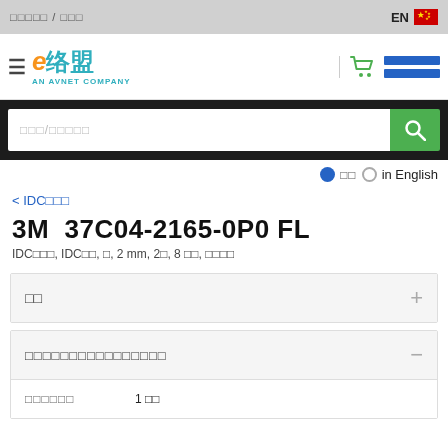首页 / 搜索
[Figure (logo): e络盟 AN AVNET COMPANY logo with orange e and teal Chinese characters]
品名/零件编号 search bar
中文 in English language toggle
< IDC连接器
3M  37C04-2165-0P0 FL
IDC连接器, IDC插座, 母, 2 mm, 2列, 8 触点, 导线对板材
价格
产品详情参数产品详情参数
最小起订量    1 件